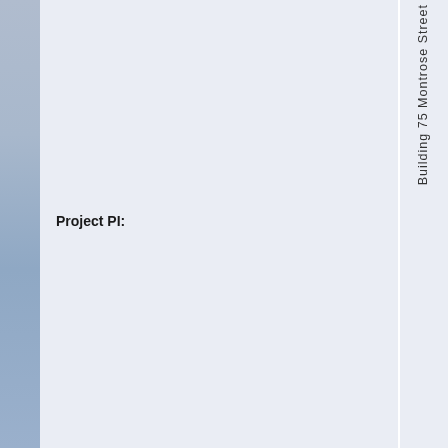Project PI:
Building 75 Montrose Street
10 ctob